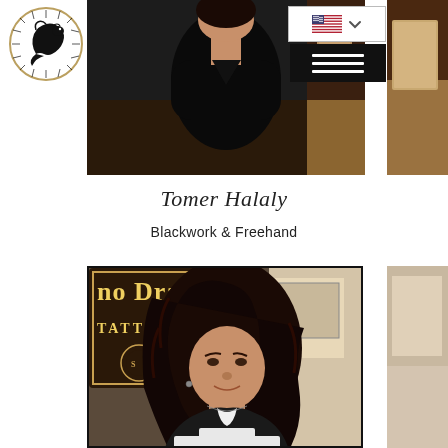[Figure (logo): No Dragon Tattoo studio logo — circular emblem with a dragon and radiating lines in black and gold]
[Figure (screenshot): Website navigation bar with US flag language selector and black hamburger menu button]
[Figure (photo): Partially cropped photo of a tattoo artist in black clothing]
Tomer Halaly
Blackwork & Freehand
[Figure (photo): Photo of a woman with curly dark hair smiling, in front of a No Dragon Tattoo studio sign]